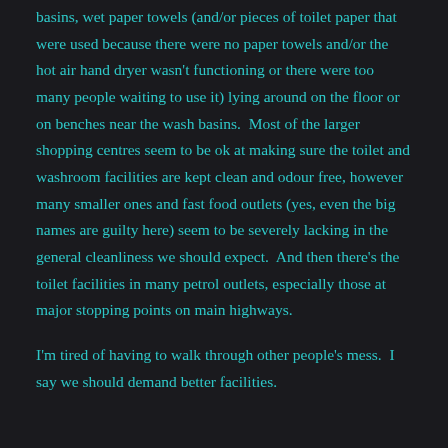basins, wet paper towels (and/or pieces of toilet paper that were used because there were no paper towels and/or the hot air hand dryer wasn't functioning or there were too many people waiting to use it) lying around on the floor or on benches near the wash basins.  Most of the larger shopping centres seem to be ok at making sure the toilet and washroom facilities are kept clean and odour free, however many smaller ones and fast food outlets (yes, even the big names are guilty here) seem to be severely lacking in the general cleanliness we should expect.  And then there's the toilet facilities in many petrol outlets, especially those at major stopping points on main highways.
I'm tired of having to walk through other people's mess.  I say we should demand better facilities.